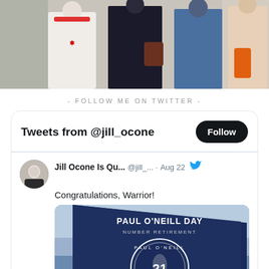[Figure (photo): Photo of people standing at what appears to be an outdoor venue or stadium. One person is wearing a Red Hot Chili Peppers t-shirt.]
- FOLLOW ME ON TWITTER -
[Figure (screenshot): Twitter widget showing tweets from @jill_ocone with a Follow button. A tweet by Jill Ocone dated Aug 22 says 'Congratulations, Warrior!' with an image of a Paul O'Neill Day Number Retirement pennant for Paul O'Neill New York Yankees #21.]